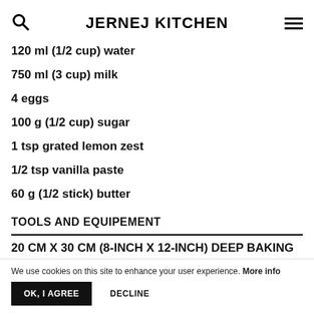JERNEJ KITCHEN
120 ml (1/2 cup) water
750 ml (3 cup) milk
4 eggs
100 g (1/2 cup) sugar
1 tsp grated lemon zest
1/2 tsp vanilla paste
60 g (1/2 stick) butter
TOOLS AND EQUIPEMENT
20 CM X 30 CM (8-INCH X 12-INCH) DEEP BAKING
We use cookies on this site to enhance your user experience. More info
OK, I AGREE    DECLINE